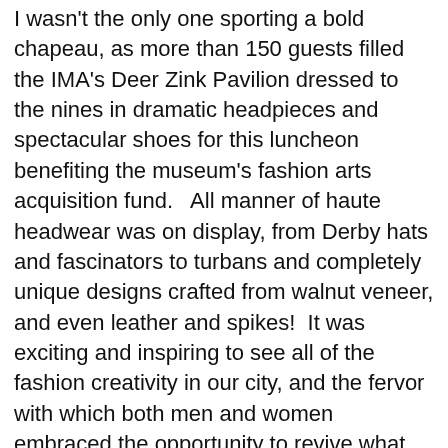I wasn't the only one sporting a bold chapeau, as more than 150 guests filled the IMA's Deer Zink Pavilion dressed to the nines in dramatic headpieces and spectacular shoes for this luncheon benefiting the museum's fashion arts acquisition fund.   All manner of haute headwear was on display, from Derby hats and fascinators to turbans and completely unique designs crafted from walnut veneer, and even leather and spikes!  It was exciting and inspiring to see all of the fashion creativity in our city, and the fervor with which both men and women embraced the opportunity to revive what was once a wardrobe staple but now stands out as a statement.

Though I could go on, this short video produced by the Indianapolis Star's Michael Anthony Adams provides a far better glimpse into the day's festivities and the visual feast of color and style than I might describe here.  We were also blessed with fantastic